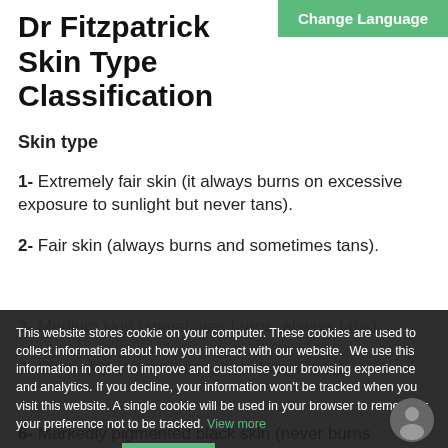Dr Fitzpatrick Skin Type Classification
Skin type
1- Extremely fair skin (it always burns on excessive exposure to sunlight but never tans).
2- Fair skin (always burns and sometimes tans).
3- Medium skin (sometimes burns, always tans).
4- Olive skin (never burns, but always tans).
This website stores cookie on your computer. These cookies are used to collect information about how you interact with our website.  We use this information in order to improve and customise your browsing experience and analytics. If you decline, your information won't be tracked when you visit this website. A single cookie will be used in your browser to remember your preference not to be tracked. View more
6- Markedly pigmented black skin (never burns